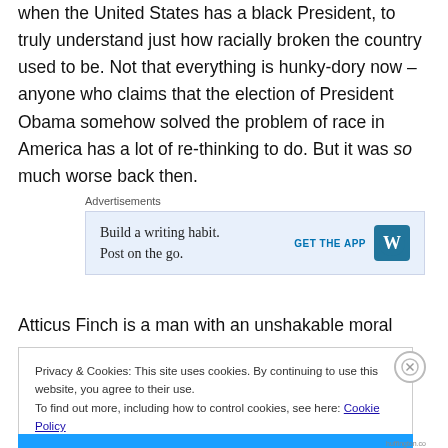when the United States has a black President, to truly understand just how racially broken the country used to be. Not that everything is hunky-dory now – anyone who claims that the election of President Obama somehow solved the problem of race in America has a lot of re-thinking to do. But it was so much worse back then.
[Figure (infographic): WordPress advertisement banner: 'Build a writing habit. Post on the go.' with GET THE APP button and WordPress logo]
Atticus Finch is a man with an unshakable moral compass,
Privacy & Cookies: This site uses cookies. By continuing to use this website, you agree to their use.
To find out more, including how to control cookies, see here: Cookie Policy
Close and accept